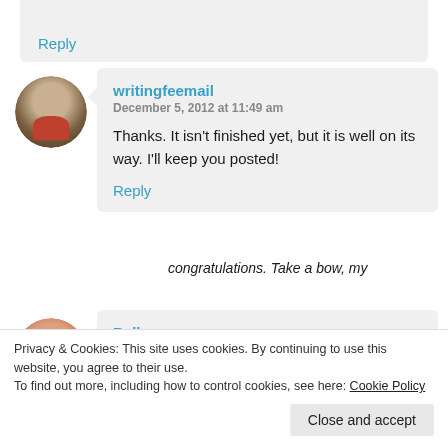Reply
writingfeemail
December 5, 2012 at 11:49 am

Thanks. It isn't finished yet, but it is well on its way. I'll keep you posted!

Reply
Bella
Privacy & Cookies: This site uses cookies. By continuing to use this website, you agree to their use.
To find out more, including how to control cookies, see here: Cookie Policy
Close and accept
congratulations. Take a bow, my